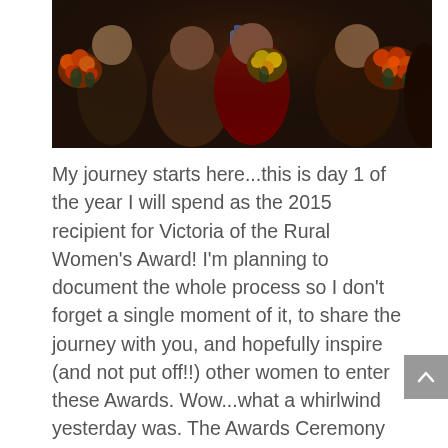[Figure (photo): Group photo of women holding colorful flower bouquets at a dark indoor event venue. Multiple women visible holding orange, yellow, and red flower arrangements.]
My journey starts here...this is day 1 of the year I will spend as the 2015 recipient for Victoria of the Rural Women's Award! I'm planning to document the whole process so I don't forget a single moment of it, to share the journey with you, and hopefully inspire (and not put off!!) other women to enter these Awards. Wow...what a whirlwind yesterday was. The Awards Ceremony was held in all the pomp and ceremony of Parliament House in Melbourne, in the beautiful Federation Room. We five